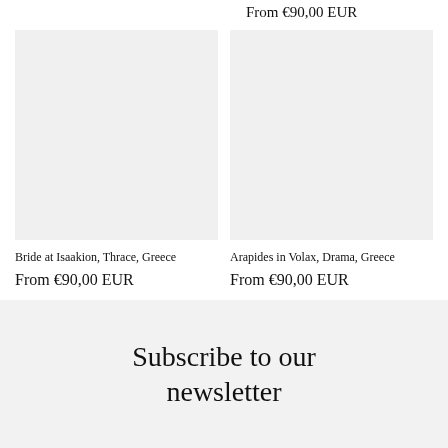From €90,00 EUR
[Figure (photo): Product image placeholder – light grey rectangle for 'Bride at Isaakion, Thrace, Greece']
Bride at Isaakion, Thrace, Greece
From €90,00 EUR
[Figure (photo): Product image placeholder – light grey rectangle for 'Arapides in Volax, Drama, Greece']
Arapides in Volax, Drama, Greece
From €90,00 EUR
Subscribe to our newsletter